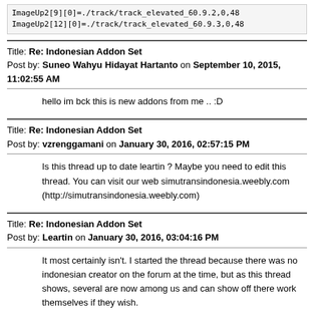ImageUp2[9][0]=./track/track_elevated_60.9.2,0,48
ImageUp2[12][0]=./track/track_elevated_60.9.3,0,48
Title: Re: Indonesian Addon Set
Post by: Suneo Wahyu Hidayat Hartanto on September 10, 2015, 11:02:55 AM
hello im bck this is new addons from me .. :D
Title: Re: Indonesian Addon Set
Post by: vzrenggamani on January 30, 2016, 02:57:15 PM
Is this thread up to date leartin ? Maybe you need to edit this thread. You can visit our web simutransindonesia.weebly.com (http://simutransindonesia.weebly.com)
Title: Re: Indonesian Addon Set
Post by: Leartin on January 30, 2016, 03:04:16 PM
It most certainly isn't. I started the thread because there was no indonesian creator on the forum at the time, but as this thread shows, several are now among us and can show off there work themselves if they wish.
If you want, you can create a new thread. Thus, you'd be in control over the starting post and can edit in any new creations. I'll pin it and if possible merge everything in here in your new thread.